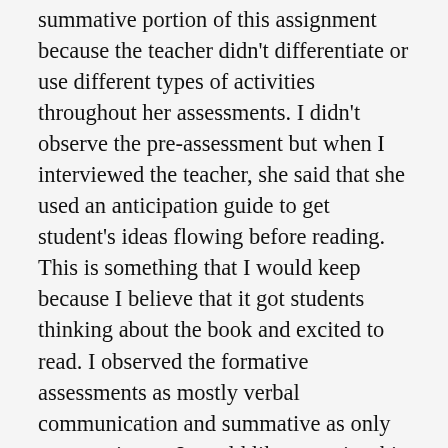summative portion of this assignment because the teacher didn't differentiate or use different types of activities throughout her assessments. I didn't observe the pre-assessment but when I interviewed the teacher, she said that she used an anticipation guide to get student's ideas flowing before reading. This is something that I would keep because I believe that it got students thinking about the book and excited to read. I observed the formative assessments as mostly verbal communication and summative as only paper unit test. I would like to revise this by using exit tickets after a lesson, in lesson polls about certain topics from the unit, and quick writes after the lesson about take aways and ideas they have after learning to assess formatively. For summative assessments I would allow students to do an oral presentation of knowledge learned, or use